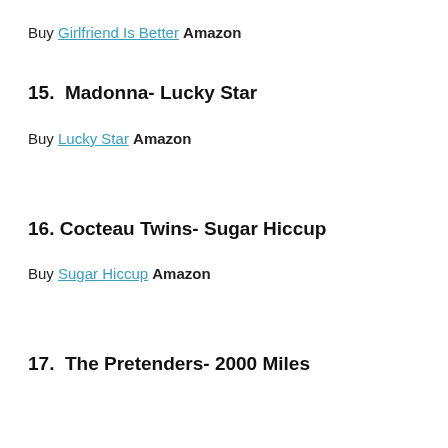Buy Girlfriend Is Better Amazon
15.  Madonna- Lucky Star
Buy Lucky Star Amazon
16. Cocteau Twins- Sugar Hiccup
Buy Sugar Hiccup Amazon
17.  The Pretenders- 2000 Miles